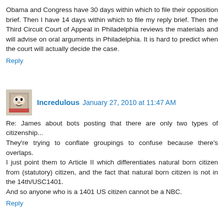Obama and Congress have 30 days within which to file their opposition brief. Then I have 14 days within which to file my reply brief. Then the Third Circuit Court of Appeal in Philadelphia reviews the materials and will advise on oral arguments in Philadelphia. It is hard to predict when the court will actually decide the case.
Reply
Incredulous  January 27, 2010 at 11:47 AM
Re: James about bots posting that there are only two types of citizenship...
They're trying to conflate groupings to confuse because there's overlaps.
I just point them to Article II which differentiates natural born citizen from (statutory) citizen, and the fact that natural born citizen is not in the 14th/USC1401.
And so anyone who is a 1401 US citizen cannot be a NBC.
Reply